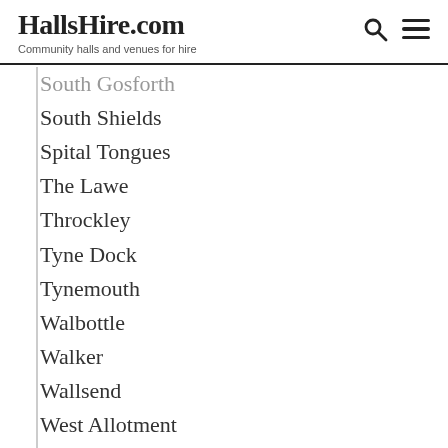HallsHire.com — Community halls and venues for hire
South Gosforth
South Shields
Spital Tongues
The Lawe
Throckley
Tyne Dock
Tynemouth
Walbottle
Walker
Wallsend
West Allotment
West Boldon
West Chirton
West Denton
West Harton
West Holywell
West Jesmond